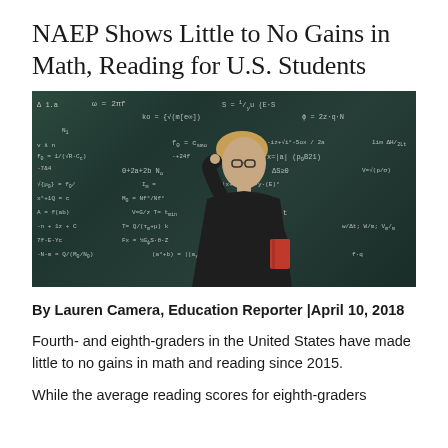NAEP Shows Little to No Gains in Math, Reading for U.S. Students
[Figure (photo): A teacher or student standing in front of a chalkboard covered in mathematical equations, holding a red book, wearing glasses and a dark blazer.]
By Lauren Camera, Education Reporter |April 10, 2018
Fourth- and eighth-graders in the United States have made little to no gains in math and reading since 2015.
While the average reading scores for eighth-graders